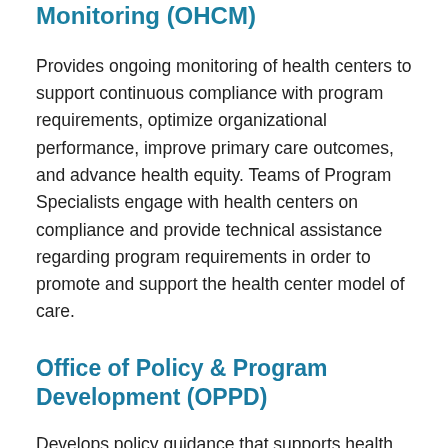Monitoring (OHCM)
Provides ongoing monitoring of health centers to support continuous compliance with program requirements, optimize organizational performance, improve primary care outcomes, and advance health equity. Teams of Program Specialists engage with health centers on compliance and provide technical assistance regarding program requirements in order to promote and support the health center model of care.
Office of Policy & Program Development (OPPD)
Develops policy guidance that supports health centers' compliance with Health Center Program requirements and helps them fully leverage the health center model